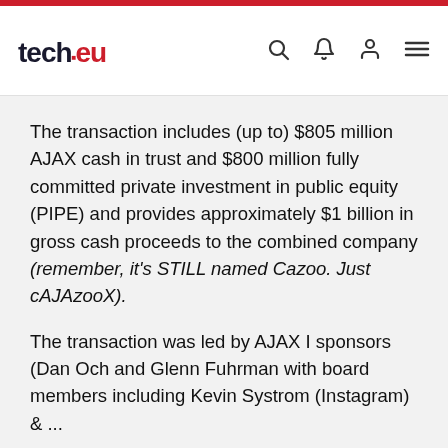tech.eu
The transaction includes (up to) $805 million AJAX cash in trust and $800 million fully committed private investment in public equity (PIPE) and provides approximately $1 billion in gross cash proceeds to the combined company (remember, it's STILL named Cazoo. Just cAJAzooX).
The transaction was led by AJAX I sponsors (Dan Och and Glenn Fuhrman with board members including Kevin Systrom (Instagram) ...